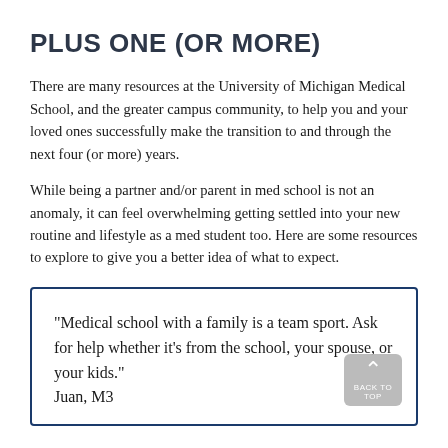PLUS ONE (OR MORE)
There are many resources at the University of Michigan Medical School, and the greater campus community, to help you and your loved ones successfully make the transition to and through the next four (or more) years.
While being a partner and/or parent in med school is not an anomaly, it can feel overwhelming getting settled into your new routine and lifestyle as a med student too. Here are some resources to explore to give you a better idea of what to expect.
"Medical school with a family is a team sport. Ask for help whether it's from the school, your spouse, or your kids." Juan, M3